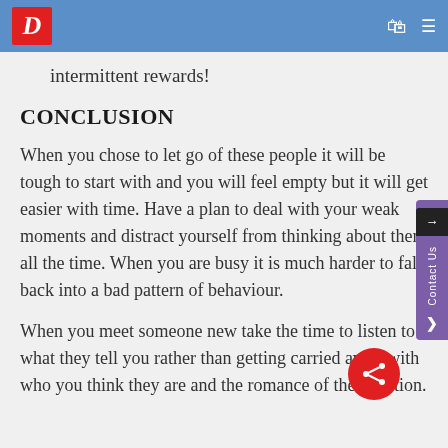D [logo] [cart icon] [menu icon]
intermittent rewards!
CONCLUSION
When you chose to let go of these people it will be tough to start with and you will feel empty but it will get easier with time. Have a plan to deal with your weak moments and distract yourself from thinking about them all the time. When you are busy it is much harder to fall back into a bad pattern of behaviour.
When you meet someone new take the time to listen to what they tell you rather than getting carried away with who you think they are and the romance of the situation.